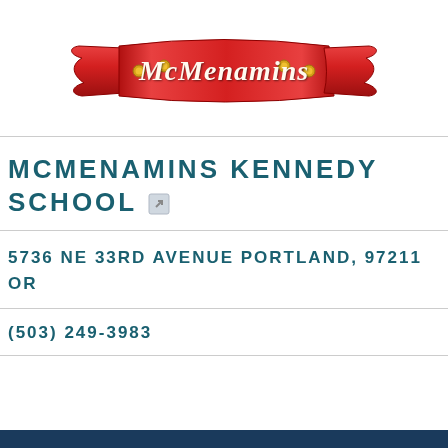[Figure (logo): McMenamins logo — red banner/strap shape with gold studs and white script text reading 'McMenamins']
MCMENAMINS KENNEDY SCHOOL
5736 NE 33RD AVENUE PORTLAND, 97211 OR
(503) 249-3983